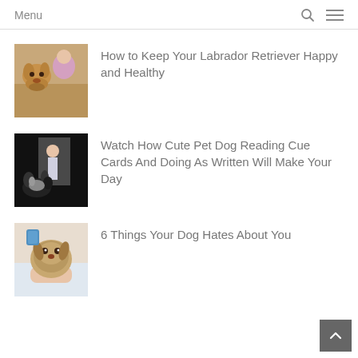Menu
[Figure (photo): Woman hugging a golden Labrador Retriever dog]
How to Keep Your Labrador Retriever Happy and Healthy
[Figure (photo): Child with a black and white dog reading cue cards in a dark room]
Watch How Cute Pet Dog Reading Cue Cards And Doing As Written Will Make Your Day
[Figure (photo): Wet dog being bathed, held in a hand with a blue sponge]
6 Things Your Dog Hates About You